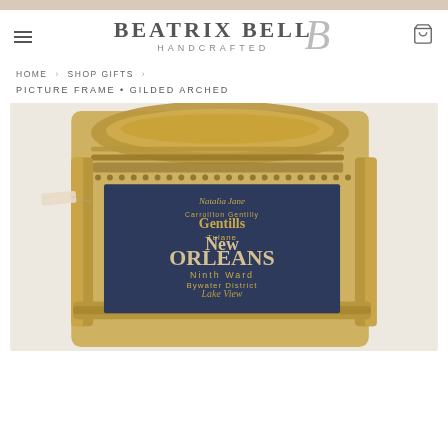Beatrix Bell Handcrafted — website header with logo, hamburger menu, and cart icon
HOME › SHOP GIFTS ›
PICTURE FRAME • GILDED ARCHED
[Figure (photo): A gilded arched picture frame with ornate gold metalwork, chains, and leaf details. The frame holds a dark navy/blue print artwork with New Orleans neighborhood names in various typography styles.]